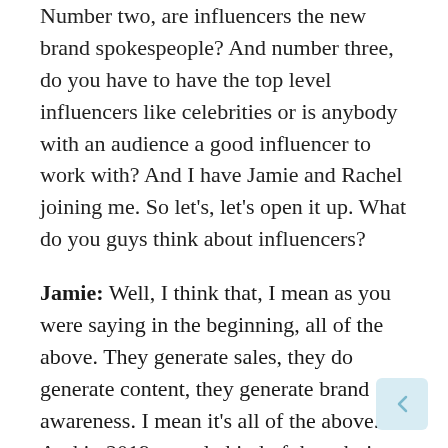Number two, are influencers the new brand spokespeople? And number three, do you have to have the top level influencers like celebrities or is anybody with an audience a good influencer to work with? And I have Jamie and Rachel joining me. So let's, let's open it up. What do you guys think about influencers?
Jamie: Well, I think that, I mean as you were saying in the beginning, all of the above. They generate sales, they do generate content, they generate brand awareness. I mean it's all of the above. And in 2019, people kind of thought it was going to die off with the whole influencer thing. But